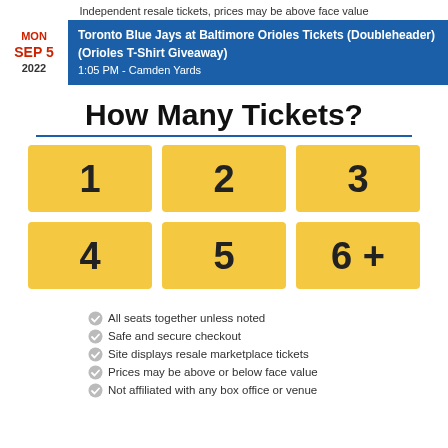Independent resale tickets, prices may be above face value
Toronto Blue Jays at Baltimore Orioles Tickets (Doubleheader) (Orioles T-Shirt Giveaway) 1:05 PM - Camden Yards
How Many Tickets?
[Figure (infographic): Six yellow ticket quantity buttons arranged in 2 rows of 3: 1, 2, 3, 4, 5, 6+]
All seats together unless noted
Safe and secure checkout
Site displays resale marketplace tickets
Prices may be above or below face value
Not affiliated with any box office or venue